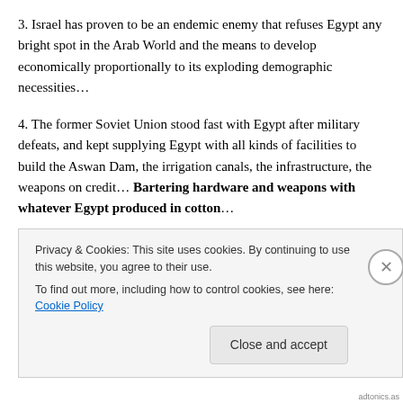3. Israel has proven to be an endemic enemy that refuses Egypt any bright spot in the Arab World and the means to develop economically proportionally to its exploding demographic necessities…
4. The former Soviet Union stood fast with Egypt after military defeats, and kept supplying Egypt with all kinds of facilities to build the Aswan Dam, the irrigation canals, the infrastructure, the weapons on credit… Bartering hardware and weapons with whatever Egypt produced in cotton…
Privacy & Cookies: This site uses cookies. By continuing to use this website, you agree to their use. To find out more, including how to control cookies, see here: Cookie Policy
Close and accept